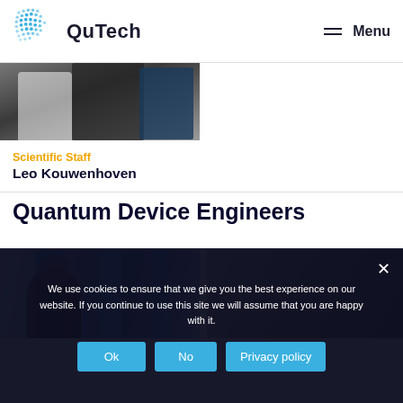QuTech — Menu
[Figure (photo): Partial photo of people in a lab or office setting, cropped at top]
Scientific Staff
Leo Kouwenhoven
Quantum Device Engineers
[Figure (photo): Two partial photos: left shows blue panels in a building, right shows person from behind]
We use cookies to ensure that we give you the best experience on our website. If you continue to use this site we will assume that you are happy with it.